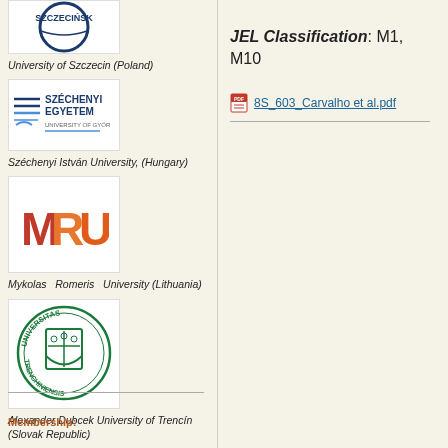[Figure (logo): University of Szczecin logo - partial blue circular logo]
University of Szczecin (Poland)
[Figure (logo): Széchenyi István University (University of Győr) logo with horizontal lines and text]
Széchenyi István University, (Hungary)
[Figure (logo): MRU - Mykolas Romeris University logo with red/orange letters]
Mykolas Romeris University (Lithuania)
[Figure (logo): Alexander Dubcek University of Trenčín - circular green university seal]
Alexander Dubcek University of Trencín (Slovak Republic)
JEL Classification: M1, M10
8S_603_Carvalho et al.pdf
Membership: